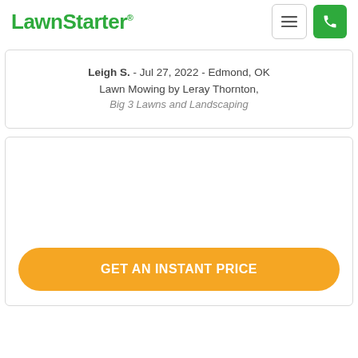LawnStarter®
Leigh S. - Jul 27, 2022 - Edmond, OK
Lawn Mowing by Leray Thornton,
Big 3 Lawns and Landscaping
GET AN INSTANT PRICE